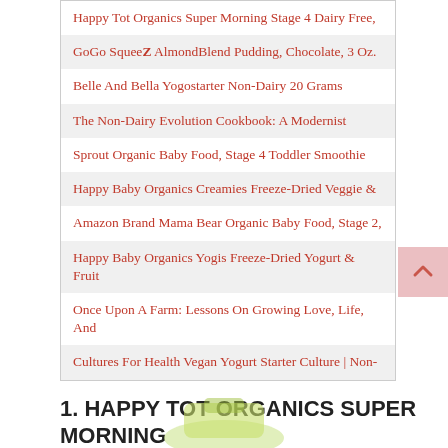Happy Tot Organics Super Morning Stage 4 Dairy Free,
GoGo SqueeZ AlmondBlend Pudding, Chocolate, 3 Oz.
Belle And Bella Yogostarter Non-Dairy 20 Grams
The Non-Dairy Evolution Cookbook: A Modernist
Sprout Organic Baby Food, Stage 4 Toddler Smoothie
Happy Baby Organics Creamies Freeze-Dried Veggie &
Amazon Brand Mama Bear Organic Baby Food, Stage 2,
Happy Baby Organics Yogis Freeze-Dried Yogurt & Fruit
Once Upon A Farm: Lessons On Growing Love, Life, And
Cultures For Health Vegan Yogurt Starter Culture | Non-
1. HAPPY TOT ORGANICS SUPER MORNING STAGE 4 DAIRY FREE
[Figure (photo): Partial product image visible at the bottom of the page]